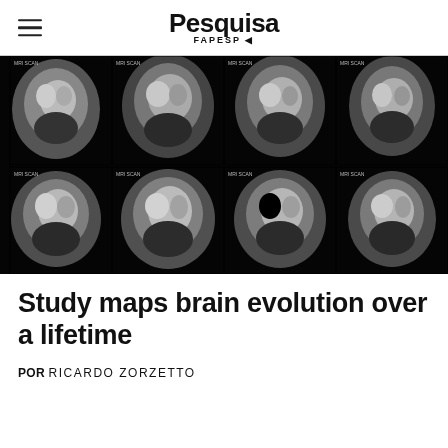Pesquisa FAPESP
[Figure (photo): Eight brain MRI scans arranged in a 4×2 grid showing sagittal cross-sections of human brains against a black background, two rows of four scans each]
Study maps brain evolution over a lifetime
POR RICARDO ZORZETTO